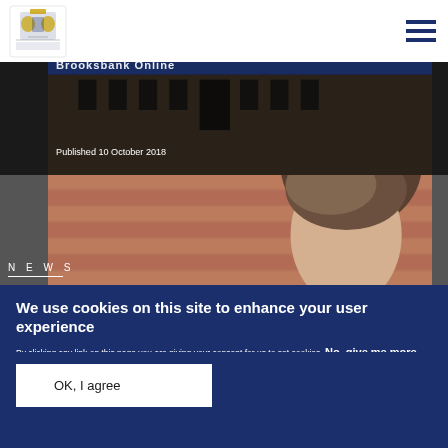[Figure (logo): Royal coat of arms / government crest logo in top left]
[Figure (screenshot): Dark building banner image with partial text 'Brooksbank Online' and published date 'Published 10 October 2018']
Published 10 October 2018
[Figure (photo): Photo of a person with blond/light hair against a brick background, with NEWS label overlay]
N E W S
We use cookies on this site to enhance your user experience
By clicking any link on this page you are giving your consent for us to set cookies. No, give me more info
OK, I agree